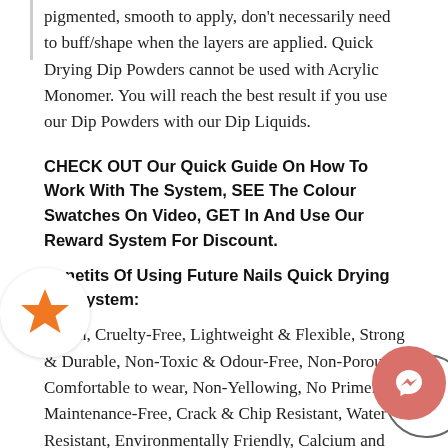pigmented, smooth to apply, don't necessarily need to buff/shape when the layers are applied. Quick Drying Dip Powders cannot be used with Acrylic Monomer. You will reach the best result if you use our Dip Powders with our Dip Liquids.
CHECK OUT Our Quick Guide On How To Work With The System, SEE The Colour Swatches On Video, GET In And Use Our Reward System For Discount.
Benetits Of Using Future Nails Quick Drying Dip System:
Vegan, Cruelty-Free, Lightweight & Flexible, Strong & Durable, Non-Toxic & Odour-Free, Non-Porous, Comfortable to wear, Non-Yellowing, No Primer, Maintenance-Free, Crack & Chip Resistant, Water Resistant, Environmentally Friendly, Calcium and Vitamin E Fortified, long-lasting
No harmful chemicals, No UV Lamp needed, Formaldehyde free, Toluene free, DBP free, MMA free